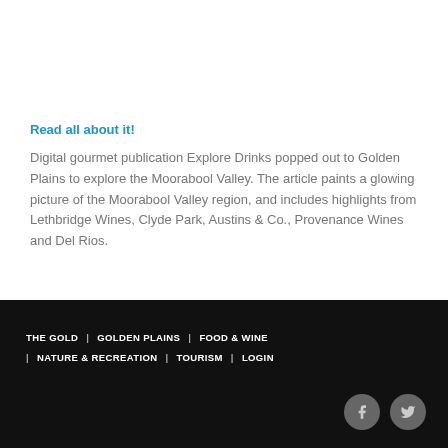Read all about it!
Digital gourmet publication Explore Drinks popped out to Golden Plains to explore the Moorabool Valley. The article paints a glowing picture of the Moorabool Valley region, and includes highlights from Lethbridge Wines, Clyde Park, Austins & Co., Provenance Wines and Del Rios.
THE GOLD | GOLDEN PLAINS | FOOD & WINE | NATURE & RECREATION | TOURISM | LOGIN